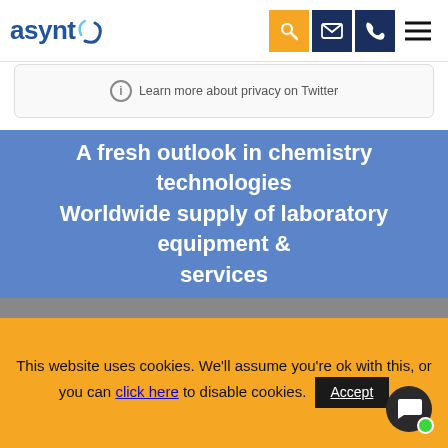asynt
Learn more about privacy on Twitter
A fresh outlook in chemistry technologies Worldwide supply of laboratory equipment & services
Quick Nav
Home
This website uses cookies. We'll assume you're ok with this, or you can click here to disable cookies.